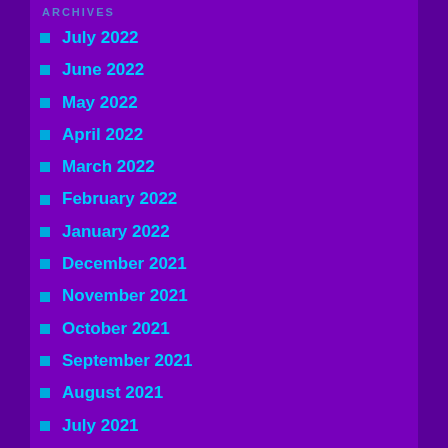ARCHIVES
July 2022
June 2022
May 2022
April 2022
March 2022
February 2022
January 2022
December 2021
November 2021
October 2021
September 2021
August 2021
July 2021
March 2021
January 2021
December 2020
November 2020
September 2020
August 2020
July 2020
February 2020